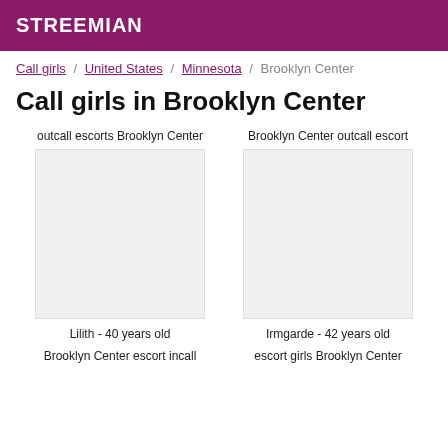STREEMIAN
Call girls / United States / Minnesota / Brooklyn Center
Call girls in Brooklyn Center
outcall escorts Brooklyn Center
Brooklyn Center outcall escort
[Figure (photo): Placeholder image for Lilith listing]
[Figure (photo): Placeholder image for Irmgarde listing]
Lilith - 40 years old
Irmgarde - 42 years old
Brooklyn Center escort incall
escort girls Brooklyn Center